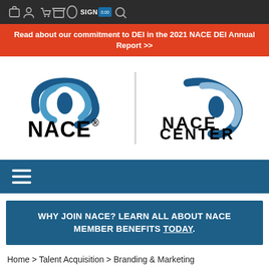SIGN IN [nav icons]
Read about our commitment to DEI in the 2021 NACE DEI Annual Report >>
[Figure (logo): NACE logo on the left: swirl icon in blue tones above the word NACE with registered trademark symbol. NACE Center logo on the right: similar swirl icon above the words NACE CENTER. Separated by a vertical divider line.]
[Figure (other): Dark blue navigation bar with a hamburger menu icon (three horizontal white lines) on the left.]
WHY JOIN NACE? LEARN ALL ABOUT NACE MEMBER BENEFITS TODAY.
Home > Talent Acquisition > Branding & Marketing